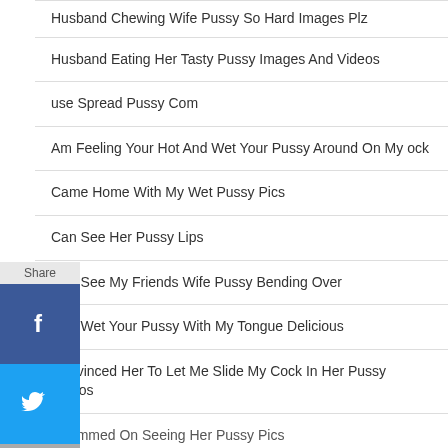Husband Chewing Wife Pussy So Hard Images Plz
Husband Eating Her Tasty Pussy Images And Videos
use Spread Pussy Com
Am Feeling Your Hot And Wet Your Pussy Around On My ock
Came Home With My Wet Pussy Pics
Can See Her Pussy Lips
Can See My Friends Wife Pussy Bending Over
Can Wet Your Pussy With My Tongue Delicious
Convinced Her To Let Me Slide My Cock In Her Pussy Videos
I Cummed On Seeing Her Pussy Pics